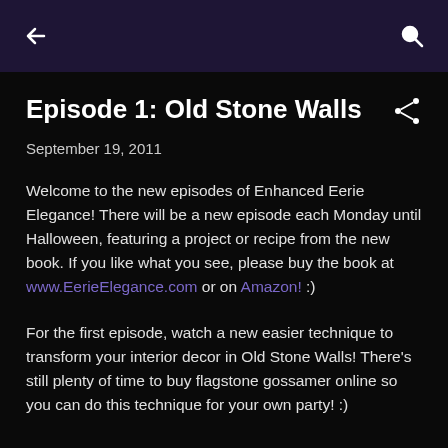← (back) Q (search)
Episode 1: Old Stone Walls
September 19, 2011
Welcome to the new episodes of Enhanced Eerie Elegance! There will be a new episode each Monday until Halloween, featuring a project or recipe from the new book. If you like what you see, please buy the book at www.EerieElegance.com or on Amazon! :)
For the first episode, watch a new easier technique to transform your interior decor in Old Stone Walls! There's still plenty of time to buy flagstone gossamer online so you can do this technique for your own party! :)